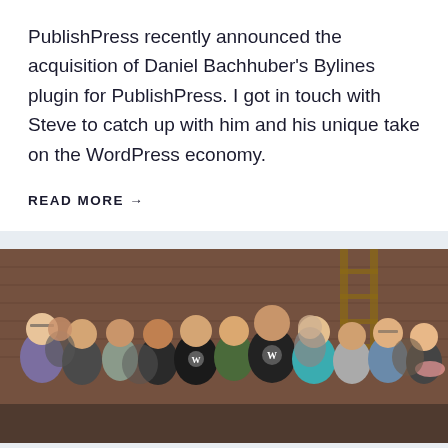PublishPress recently announced the acquisition of Daniel Bachhuber's Bylines plugin for PublishPress. I got in touch with Steve to catch up with him and his unique take on the WordPress economy.
READ MORE →
[Figure (photo): Group photo of approximately 18 people standing together in front of a brick wall with a wooden ladder visible in the background. Several people are wearing WordPress-branded clothing. The group appears to be at a WordPress or tech event.]